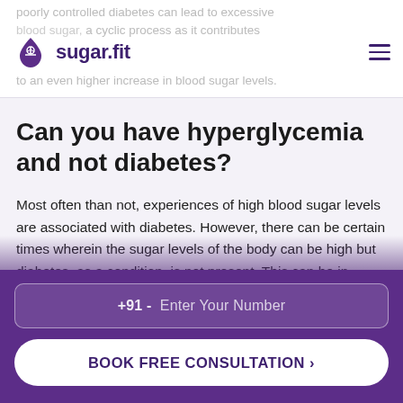poorly controlled diabetes can lead to excessive blood sugar, a cyclic process as it contributes to an even higher increase in blood sugar levels.
Can you have hyperglycemia and not diabetes?
Most often than not, experiences of high blood sugar levels are associated with diabetes. However, there can be certain times wherein the sugar levels of the body can be high but diabetes, as a condition, is not present. This can be in cases of high-stress situations or during a major illness or injury. Other issues related
+91 - Enter Your Number
BOOK FREE CONSULTATION >